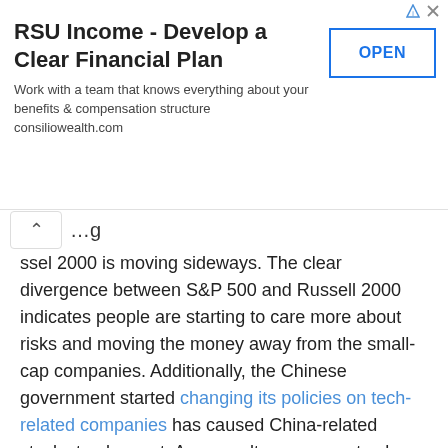[Figure (other): Advertisement banner: RSU Income - Develop a Clear Financial Plan. Work with a team that knows everything about your benefits & compensation structure consiliowealth.com. OPEN button.]
ssel 2000 is moving sideways. The clear divergence between S&P 500 and Russell 2000 indicates people are starting to care more about risks and moving the money away from the small-cap companies. Additionally, the Chinese government started changing its policies on tech-related companies has caused China-related stocks to plummet. As a result, my account value declined in July due to unrealized loss, even though the account did produce realized profit for the month.
This is a really good lesson on how changes in political policies could have devastating effects.